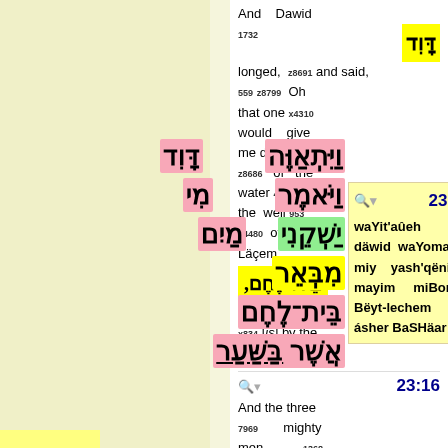And Dawid 1732 longed, z8691 and said, 559 z8799 Oh that one x4310 would give me drink 8248 z8686 of the water 4325 of the well 953 x4480 of Be+- Lacem 1035 which x834 [is] by the gate! 8179
23:15 waYit'aûeh däwid waYomar miy yash'qëniy mayim miBor Bëyt-lechem ásher BaSHäar
[Figure (other): Hebrew text block with colored highlights (pink, yellow, green, white backgrounds) showing Hebrew words: Dawid, waYit'aûeh, waYomar, miy, yash'qëniy, mayim, miBor, Beyt-lechem, asher baSHaar]
23:16 And the three 7969 mighty men 1368 brake through 1234 z8799 the host 4264 of